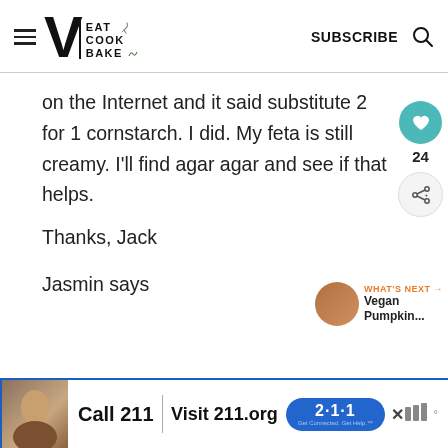VE EAT COOK BAKE — SUBSCRIBE
on the Internet and it said substitute 2 for 1 cornstarch. I did. My feta is still creamy. I'll find agar agar and see if that helps.
Thanks, Jack
Jasmin says
[Figure (screenshot): Advertisement banner: Call 211 | Visit 211.org with 2-1-1 logo badge]